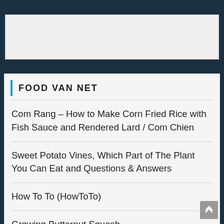[Figure (other): Advertisement banner placeholder (gray box)]
Food Van Net
Com Rang – How to Make Corn Fried Rice with Fish Sauce and Rendered Lard / Com Chien
Sweet Potato Vines, Which Part of The Plant You Can Eat and Questions & Answers
How To To (HowToTo)
Growing Butternut Squash
How to Cook without Making Your Stove Dirty